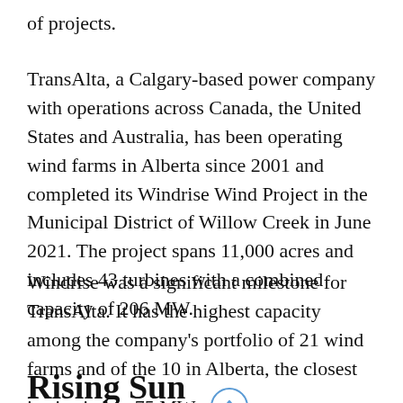of projects.
TransAlta, a Calgary-based power company with operations across Canada, the United States and Australia, has been operating wind farms in Alberta since 2001 and completed its Windrise Wind Project in the Municipal District of Willow Creek in June 2021. The project spans 11,000 acres and includes 43 turbines with a combined capacity of 206 MW.
Windrise was a significant milestone for TransAlta. It has the highest capacity among the company's portfolio of 21 wind farms and of the 10 in Alberta, the closest in size is just 75 MW.
Rising Sun